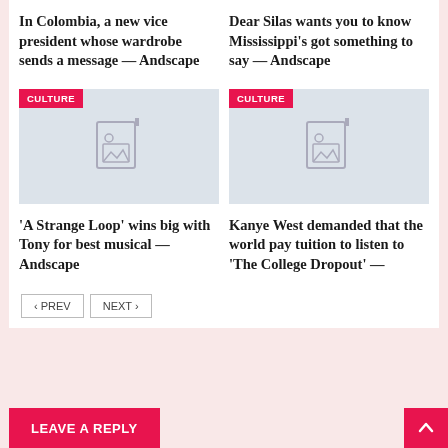In Colombia, a new vice president whose wardrobe sends a message — Andscape
Dear Silas wants you to know Mississippi's got something to say — Andscape
[Figure (illustration): Image placeholder with CULTURE badge — left card]
[Figure (illustration): Image placeholder with CULTURE badge — right card]
'A Strange Loop' wins big with Tony for best musical — Andscape
Kanye West demanded that the world pay tuition to listen to 'The College Dropout' —
‹ PREV
NEXT ›
LEAVE A REPLY